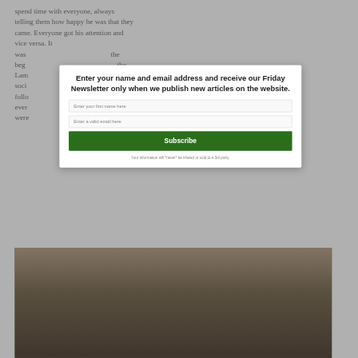spend time with everyone, always telling them how happy he was that they came. Everyone got his attention and vice versa. It was something special in itself, the beginning of the Lamb social club always following every event, were
[Figure (photo): Group photo of several people gathered together, visible at the bottom of the page behind a modal dialog]
Enter your name and email address and receive our Friday Newsletter only when we publish new articles on the website.
Enter your first name here
Enter a valid email here
Subscribe
Your information will *never* be shared or sold to a 3rd party.